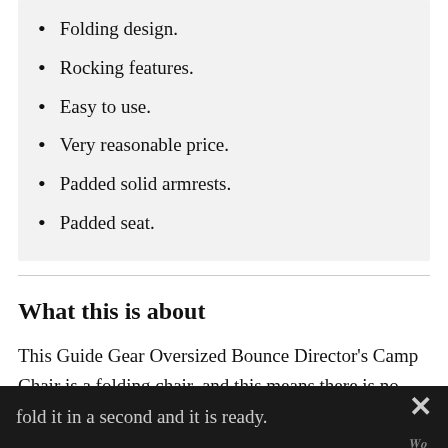Folding design.
Rocking features.
Easy to use.
Very reasonable price.
Padded solid armrests.
Padded seat.
What this is about
This Guide Gear Oversized Bounce Director's Camp Chair is a folding chair, and this means there is no assembly of any kind. You open it or fold it in a second and it is ready.